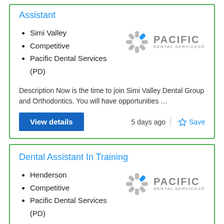Assistant
Simi Valley
Competitive
Pacific Dental Services (PD)
[Figure (logo): Pacific Dental Services logo with starburst icon]
Description Now is the time to join Simi Valley Dental Group and Orthodontics. You will have opportunities …
View details
5 days ago
Save
Dental Assistant In Training
Henderson
Competitive
Pacific Dental Services (PD)
[Figure (logo): Pacific Dental Services logo with starburst icon]
Description Now is the time to join Simi Valley ...